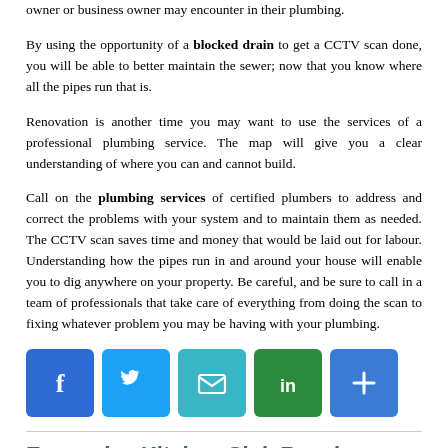owner or business owner may encounter in their plumbing.
By using the opportunity of a blocked drain to get a CCTV scan done, you will be able to better maintain the sewer; now that you know where all the pipes run that is.
Renovation is another time you may want to use the services of a professional plumbing service. The map will give you a clear understanding of where you can and cannot build.
Call on the plumbing services of certified plumbers to address and correct the problems with your system and to maintain them as needed. The CCTV scan saves time and money that would be laid out for labour. Understanding how the pipes run in and around your house will enable you to dig anywhere on your property. Be careful, and be sure to call in a team of professionals that take care of everything from doing the scan to fixing whatever problem you may be having with your plumbing.
[Figure (infographic): Social sharing buttons: Facebook, Twitter, Email, LinkedIn, Share (plus icon)]
Expensive Kitchen Sink Repairs